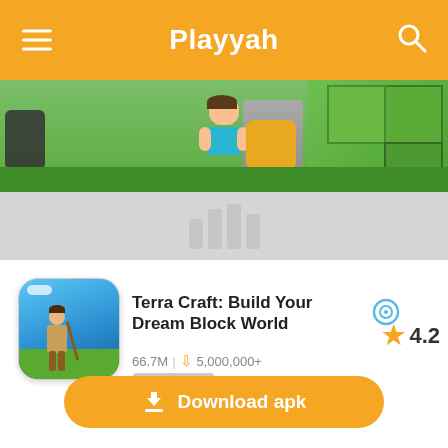Playyah
[Figure (screenshot): Banner screenshot showing a 3D game scene with a character and blocky Minecraft-style environment, followed by a gray area with a watermark logo]
[Figure (illustration): App icon for Terra Craft showing a character with a spear on a blue sky background]
Terra Craft: Build Your Dream Block World
66.7M | 5,000,000+
Adventure
4.2
Download apk